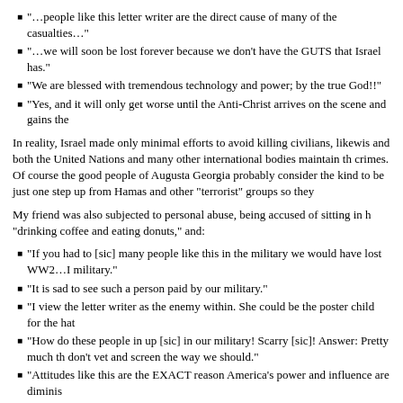“…people like this letter writer are the direct cause of many of the casualties…”
“…we will soon be lost forever because we don’t have the GUTS that Israel has.”
“We are blessed with tremendous technology and power; by the true God!!”
“Yes, and it will only get worse until the Anti-Christ arrives on the scene and gains the…”
In reality, Israel made only minimal efforts to avoid killing civilians, likewise and both the United Nations and many other international bodies maintain th… crimes. Of course the good people of Augusta Georgia probably consider the… kind to be just one step up from Hamas and other “terrorist” groups so they…
My friend was also subjected to personal abuse, being accused of sitting in h… “drinking coffee and eating donuts,” and:
“If you had to [sic] many people like this in the military we would have lost WW2…I… military.”
“It is sad to see such a person paid by our military.”
“I view the letter writer as the enemy within. She could be the poster child for the hat…”
“How do these people in up [sic] in our military! Scarry [sic]! Answer: Pretty much th… don’t vet and screen the way we should.”
“Attitudes like this are the EXACT reason America’s power and influence are diminis…”
“Articles like this almost make me upchuck.”
“…she [should] seek assistance from a mental health professional very soon.”
“Fools like this impede our ability to defend ourselves…”
“She apparently hates this country.”
“This moron has blood all over her hands.”